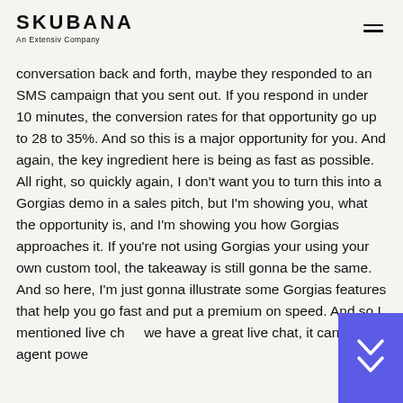SKUBANA An Extensiv Company
conversation back and forth, maybe they responded to an SMS campaign that you sent out. If you respond in under 10 minutes, the conversion rates for that opportunity go up to 28 to 35%. And so this is a major opportunity for you. And again, the key ingredient here is being as fast as possible. All right, so quickly again, I don't want you to turn this into a Gorgias demo in a sales pitch, but I'm showing you, what the opportunity is, and I'm showing you how Gorgias approaches it. If you're not using Gorgias your using your own custom tool, the takeaway is still gonna be the same. And so here, I'm just gonna illustrate some Gorgias features that help you go fast and put a premium on speed. And so I mentioned live ch... we have a great live chat, it can be agent powe...